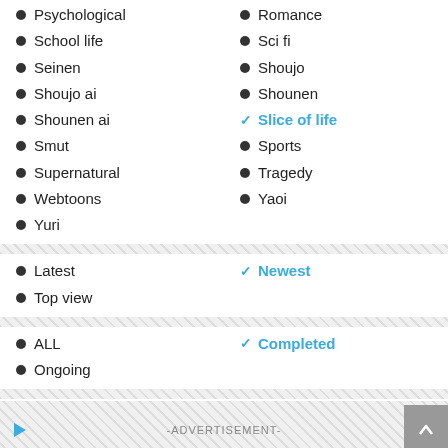Psychological
Romance
School life
Sci fi
Seinen
Shoujo
Shoujo ai
Shounen
Shounen ai
✓ Slice of life
Smut
Sports
Supernatural
Tragedy
Webtoons
Yaoi
Yuri
Latest
✓ Newest
Top view
ALL
✓ Completed
Ongoing
-ADVERTISEMENT-